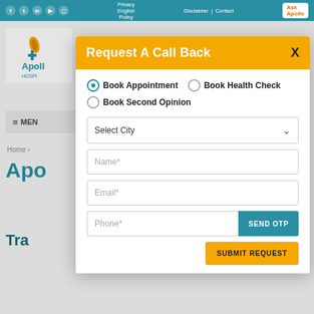Apollo Hospitals website navigation bar with social icons, Privacy Policy, English, Disclaimer, Contact, Ask Apollo
[Figure (logo): Apollo Hospitals logo with medical cross and flame icon]
≡ MENU
Home >
Apo
Tra
Request A Call Back
Book Appointment (selected radio button)
Book Health Check
Book Second Opinion
Select City
Name*
Email*
Phone*
SEND OTP
SUBMIT REQUEST